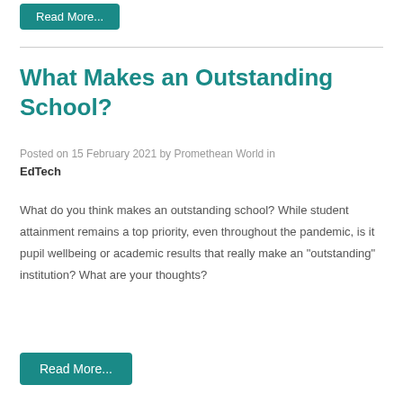Read More...
What Makes an Outstanding School?
Posted on 15 February 2021 by Promethean World in EdTech
What do you think makes an outstanding school? While student attainment remains a top priority, even throughout the pandemic, is it pupil wellbeing or academic results that really make an "outstanding" institution? What are your thoughts?
Read More...